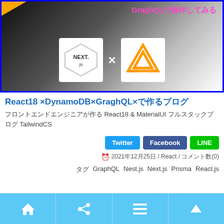[Figure (screenshot): Hero image showing Next.js logo and AWS Amplify logo with 'x' between them on gradient dark background, with orange badge top-left and pink Japanese text top-right 'GraghQLで操作してみる']
React18 ×DynamoDB×GraghQL×で作るブログ
フロントエンドエンジニアが作る React18 & MaterialUI フルスタックブログ TailwindCS
Twitter Facebook LINE
2021年12月25日 / React / コメント数(0)
タグ GraphQL Nest.js Next.js Prisma React.js
[Figure (screenshot): Bottom navigation bar with home, share, menu, and up arrow icons on light blue background]